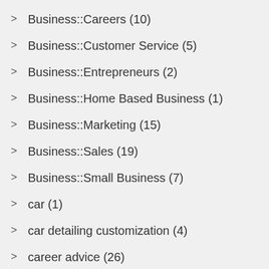Business::Careers (10)
Business::Customer Service (5)
Business::Entrepreneurs (2)
Business::Home Based Business (1)
Business::Marketing (15)
Business::Sales (19)
Business::Small Business (7)
car (1)
car detailing customization (4)
career advice (26)
careers (1)
careers employment (3)
casino (4)